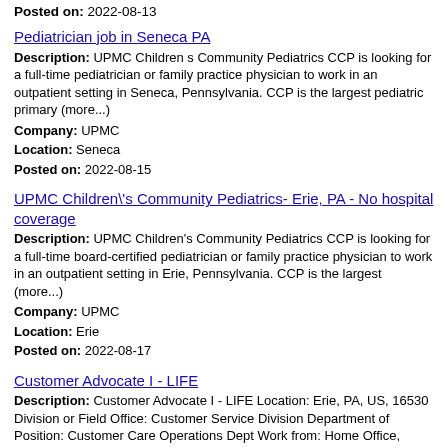Posted on: 2022-08-13
Pediatrician job in Seneca PA
Description: UPMC Children s Community Pediatrics CCP is looking for a full-time pediatrician or family practice physician to work in an outpatient setting in Seneca, Pennsylvania. CCP is the largest pediatric primary (more...)
Company: UPMC
Location: Seneca
Posted on: 2022-08-15
UPMC Children\'s Community Pediatrics- Erie, PA - No hospital coverage
Description: UPMC Children's Community Pediatrics CCP is looking for a full-time board-certified pediatrician or family practice physician to work in an outpatient setting in Erie, Pennsylvania. CCP is the largest (more...)
Company: UPMC
Location: Erie
Posted on: 2022-08-17
Customer Advocate I - LIFE
Description: Customer Advocate I - LIFE Location: Erie, PA, US, 16530 Division or Field Office: Customer Service Division Department of Position: Customer Care Operations Dept Work from: Home Office, (more...)
Company: Erie Insurance Group
Location: Erie